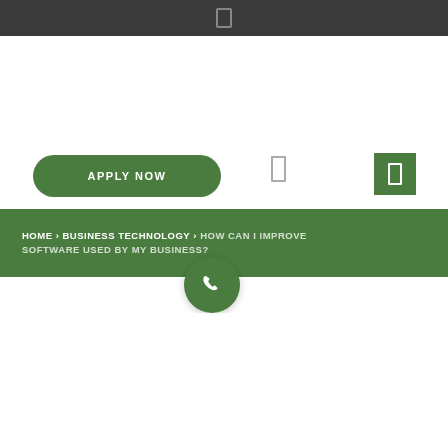[Figure (other): Green rounded APPLY NOW button]
[Figure (other): Green square icon button]
HOME > BUSINESS TECHNOLOGY > HOW CAN I IMPROVE SOFTWARE USED BY MY BUSINESS?
[Figure (other): Green circle phone/call button]